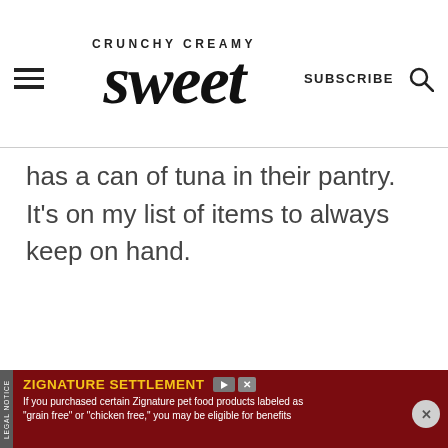CRUNCHY CREAMY sweet
has a can of tuna in their pantry. It's on my list of items to always keep on hand.
[Figure (other): Advertisement banner: ZIGNATURE SETTLEMENT - dark red background with yellow title and white body text. Legal notice tab on left side. If you purchased certain Zignature pet food products labeled as "grain free" or "chicken free," you may be eligible for benefits]